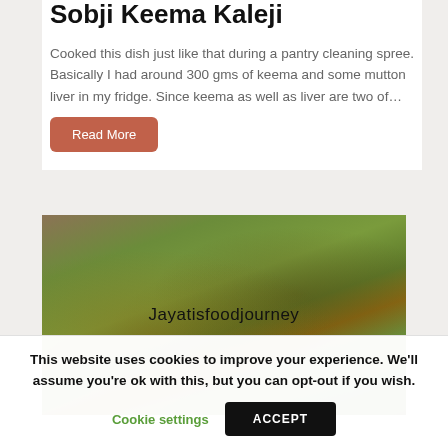Sobji Keema Kaleji
Cooked this dish just like that during a pantry cleaning spree. Basically I had around 300 gms of keema and some mutton liver in my fridge. Since keema as well as liver are two of…
Read More
[Figure (photo): Close-up photo of a green stuffed vegetable dish (likely stuffed bitter gourd or similar), with watermark text 'Jayatisfoodjourney']
This website uses cookies to improve your experience. We'll assume you're ok with this, but you can opt-out if you wish.
Cookie settings
ACCEPT